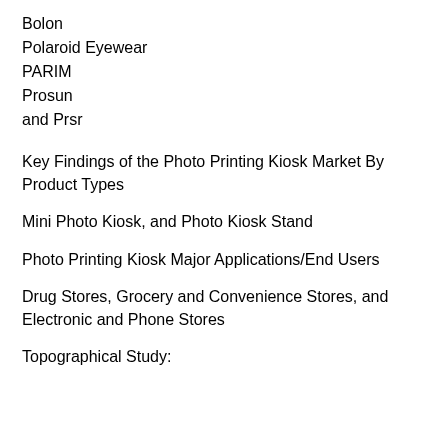Bolon
Polaroid Eyewear
PARIM
Prosun
and Prsr
Key Findings of the Photo Printing Kiosk Market By Product Types
Mini Photo Kiosk, and Photo Kiosk Stand
Photo Printing Kiosk Major Applications/End Users
Drug Stores, Grocery and Convenience Stores, and Electronic and Phone Stores
Topographical Study: